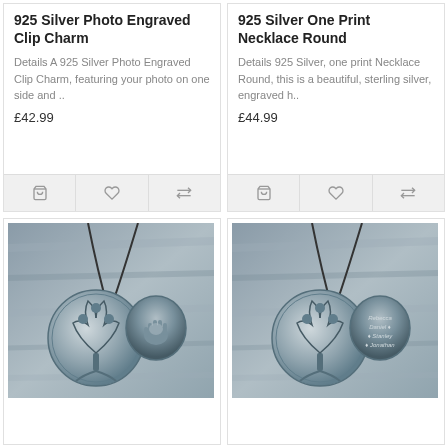925 Silver Photo Engraved Clip Charm
Details A 925 Silver Photo Engraved Clip Charm, featuring your photo on one side and ..
£42.99
925 Silver One Print Necklace Round
Details 925 Silver, one print Necklace Round, this is a beautiful, sterling silver, engraved h..
£44.99
[Figure (photo): Silver tree of life pendant with handprint charm on necklace, photographed on wood background]
[Figure (photo): Silver tree of life pendant with engraved name charm on necklace, photographed on wood background]